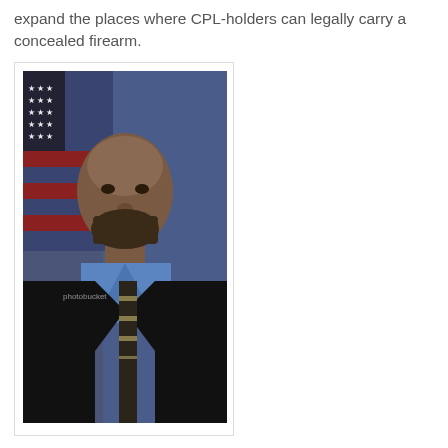expand the places where CPL-holders can legally carry a concealed firearm.
[Figure (photo): Headshot photo of a bald African American man with a beard, wearing a black suit jacket, blue dress shirt, and striped tie, posed in front of an American flag and blue curtain background. There is a Photobucket watermark on the image.]